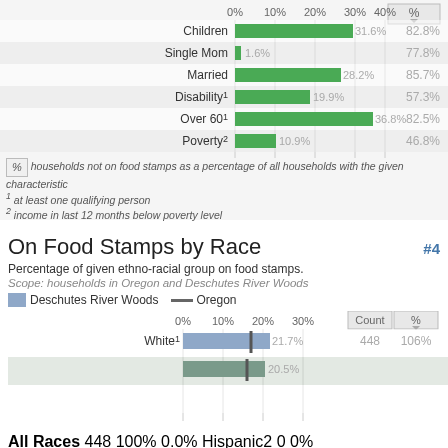[Figure (bar-chart): Households not on food stamps by characteristic]
% households not on food stamps as a percentage of all households with the given characteristic
1 at least one qualifying person
2 income in last 12 months below poverty level
On Food Stamps by Race
Percentage of given ethno-racial group on food stamps.
Scope: households in Oregon and Deschutes River Woods
[Figure (grouped-bar-chart): On Food Stamps by Race]
|  | Count | % |
| --- | --- | --- |
| White1 | 448 | 106% |
| All Races | 448 | 100% |
| Hispanic2 | 0 | 0% |